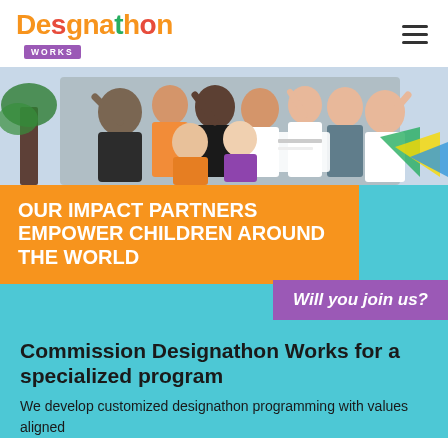Designathon Works
[Figure (photo): Group of adults and children celebrating, raising fists in the air, indoors with a certificate visible]
OUR IMPACT PARTNERS EMPOWER CHILDREN AROUND THE WORLD
Will you join us?
Commission Designathon Works for a specialized program
We develop customized designathon programming with values aligned